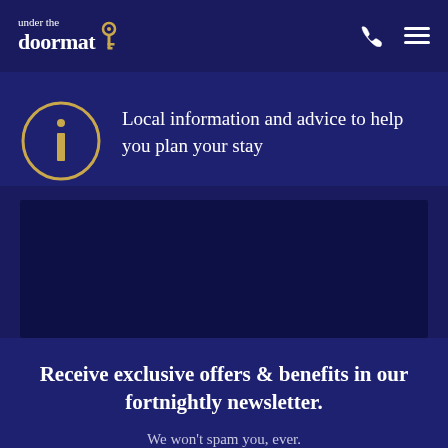under the doormat
[Figure (logo): Under the Doormat logo with key icon, phone icon, and hamburger menu icon in navy header]
Local information and advice to help you plan your stay
[Figure (photo): Dark image placeholder area]
Receive exclusive offers & benefits in our fortnightly newsletter.
We won't spam you, ever.
SUBSCRIBE →